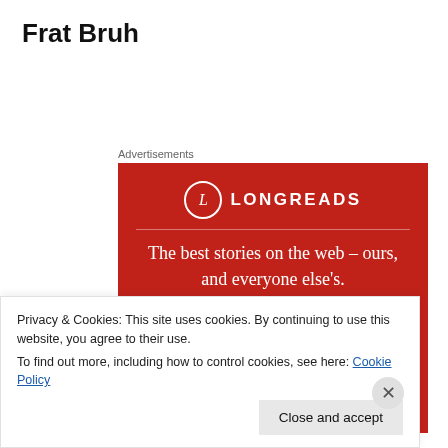Frat Bruh
Advertisements
[Figure (other): Longreads advertisement banner on red background with logo, tagline 'The best stories on the web – ours, and everyone else's.' and a 'Start reading' button.]
Privacy & Cookies: This site uses cookies. By continuing to use this website, you agree to their use.
To find out more, including how to control cookies, see here: Cookie Policy
Close and accept